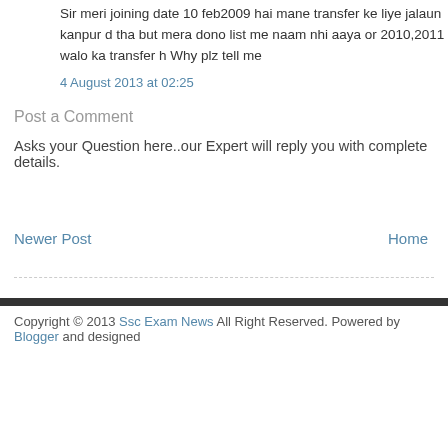Sir meri joining date 10 feb2009 hai mane transfer ke liye jalaun kanpur d tha but mera dono list me naam nhi aaya or 2010,2011 walo ka transfer h Why plz tell me
4 August 2013 at 02:25
Post a Comment
Asks your Question here..our Expert will reply you with complete details.
Newer Post
Home
Copyright © 2013 Ssc Exam News All Right Reserved. Powered by Blogger and designed